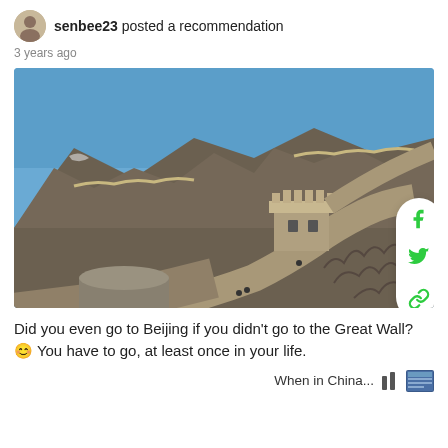senbee23 posted a recommendation
3 years ago
[Figure (photo): Photo of the Great Wall of China winding along a hillside with a clear blue sky, showing a watchtower in the foreground and the wall extending into the distance over rocky mountains. Social share buttons (Facebook, Twitter, link) are overlaid on the right side.]
Did you even go to Beijing if you didn't go to the Great Wall? 😊 You have to go, at least once in your life.
When in China...